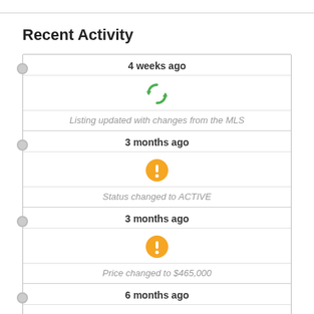Recent Activity
4 weeks ago — Listing updated with changes from the MLS
3 months ago — Status changed to ACTIVE
3 months ago — Price changed to $465,000
6 months ago — Listing first seen online